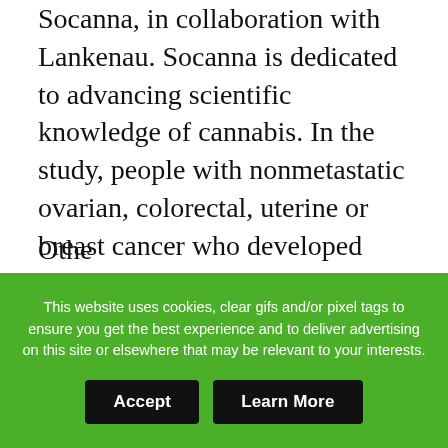Socanna, in collaboration with Lankenau. Socanna is dedicated to advancing scientific knowledge of cannabis. In the study, people with nonmetastatic ovarian, colorectal, uterine or breast cancer who developed chemotherapy-induced peripheral neuropathy are randomly assigned to take either CBD gel capsules derived from hemp or placebo gel capsules. Braun is launching a randomized, double-blind, controlled trial testing whether pharmaceutical-grade CBD can improve symptoms of anxiety prior to CT scans, also called scanxiety, in adults with advanced breast cancer.
Othe...
This website uses cookies, clear gifs and/or pixel tags to ensure you get the best experience and to deliver advertising on this site or elsewhere that may be relevant to your interests.